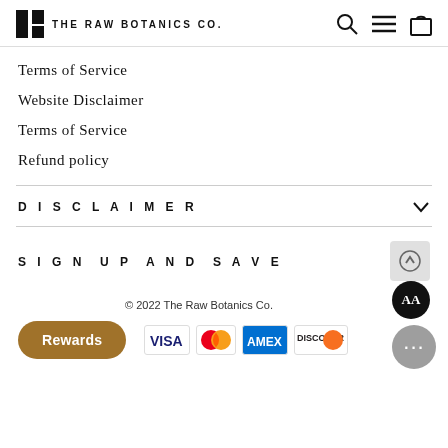THE RAW BOTANICS CO.
Terms of Service
Website Disclaimer
Terms of Service
Refund policy
DISCLAIMER
SIGN UP AND SAVE
© 2022 The Raw Botanics Co.
[Figure (logo): Payment icons: VISA, Mastercard, AMEX, Discover]